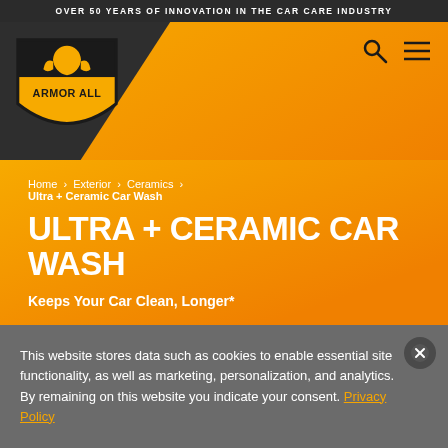OVER 50 YEARS OF INNOVATION IN THE CAR CARE INDUSTRY
[Figure (logo): Armor All brand logo with knight mascot on yellow shield with black background]
Home › Exterior › Ceramics › Ultra + Ceramic Car Wash
ULTRA + CERAMIC CAR WASH
Keeps Your Car Clean, Longer*
This website stores data such as cookies to enable essential site functionality, as well as marketing, personalization, and analytics. By remaining on this website you indicate your consent. Privacy Policy